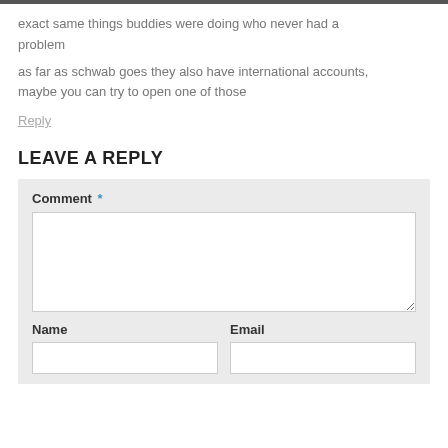exact same things buddies were doing who never had a problem
as far as schwab goes they also have international accounts, maybe you can try to open one of those
Reply
LEAVE A REPLY
Comment *
Name
Email